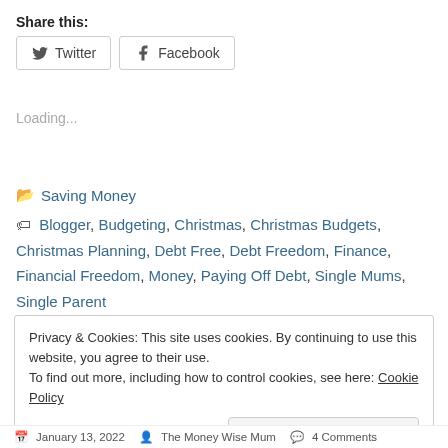Share this:
Twitter  Facebook
Loading...
Saving Money
Blogger, Budgeting, Christmas, Christmas Budgets, Christmas Planning, Debt Free, Debt Freedom, Finance, Financial Freedom, Money, Paying Off Debt, Single Mums, Single Parent
Privacy & Cookies: This site uses cookies. By continuing to use this website, you agree to their use. To find out more, including how to control cookies, see here: Cookie Policy
Close and accept
January 13, 2022   The Money Wise Mum   4 Comments